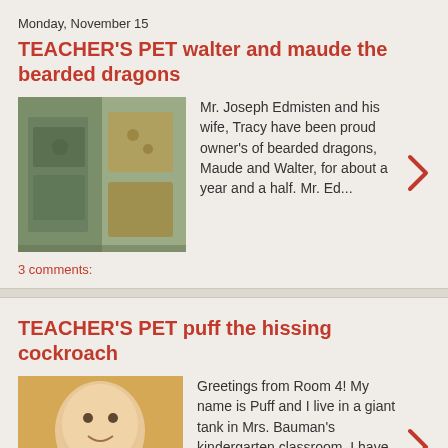Monday, November 15
TEACHER'S PET walter and maude the bearded dragons
[Figure (photo): Photo of bearded dragons (Walter and Maude) - two reptiles on a surface]
Mr. Joseph Edmisten and his wife, Tracy have been proud owner's of bearded dragons, Maude and Walter, for about a year and a half. Mr. Ed...
3 comments:
TEACHER'S PET puff the hissing cockroach
[Figure (photo): Photo of a teacher/woman holding something, smiling in a classroom]
Greetings from Room 4!  My name is Puff and I live in a giant tank in Mrs. Bauman's kindergarten classroom.  I have been in school for ...
Tuesday, October 19
TEACHER'S PET roxy and